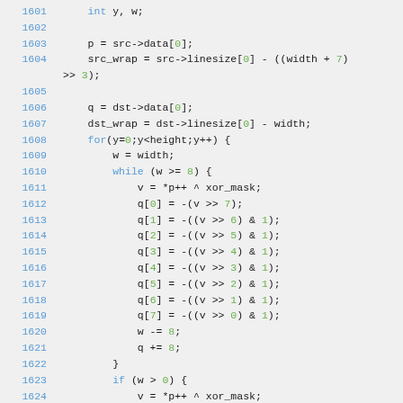Source code listing lines 1601-1624
1601    int y, w;
1602
1603    p = src->data[0];
1604    src_wrap = src->linesize[0] - ((width + 7) >> 3);
1605
1606    q = dst->data[0];
1607    dst_wrap = dst->linesize[0] - width;
1608    for(y=0;y<height;y++) {
1609        w = width;
1610        while (w >= 8) {
1611            v = *p++ ^ xor_mask;
1612            q[0] = -(v >> 7);
1613            q[1] = -((v >> 6) & 1);
1614            q[2] = -((v >> 5) & 1);
1615            q[3] = -((v >> 4) & 1);
1616            q[4] = -((v >> 3) & 1);
1617            q[5] = -((v >> 2) & 1);
1618            q[6] = -((v >> 1) & 1);
1619            q[7] = -((v >> 0) & 1);
1620            w -= 8;
1621            q += 8;
1622        }
1623        if (w > 0) {
1624            v = *p++ ^ xor_mask;